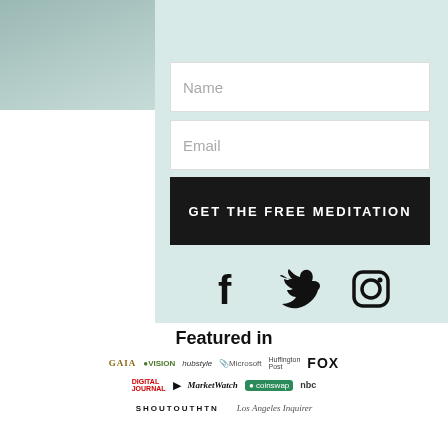of your life again.
[Figure (infographic): Red horizontal divider line]
[Figure (infographic): Form with Name field, Email field, and GET THE FREE MEDITATION button on a light teal background]
[Figure (infographic): Social media icons: Facebook, Twitter, Instagram]
Featured in
[Figure (infographic): Media logos row 1: GAIA, VISION, hubstyle, Microsoft, Huffington Post, FOX]
[Figure (infographic): Media logos row 2: Digital Journal, Apple News, MarketWatch, coinswap, NBC]
[Figure (infographic): Media logos row 3: SHOUTOUTHTN, Los Angeles Inquirer]